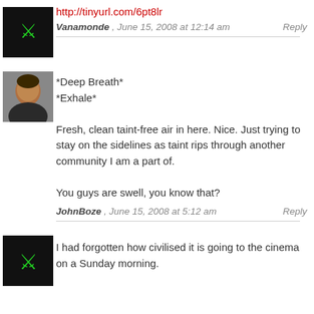[Figure (photo): Small black avatar image with green icon, top left]
http://tinyurl.com/6pt8lr
Vanamonde , June 15, 2008 at 12:14 am    Reply
[Figure (photo): Avatar photo of a man in a dark jacket]
*Deep Breath*
*Exhale*

Fresh, clean taint-free air in here. Nice. Just trying to stay on the sidelines as taint rips through another community I am a part of.

You guys are swell, you know that?
JohnBoze , June 15, 2008 at 5:12 am    Reply
[Figure (photo): Small black avatar image with green figure icon, bottom left]
I had forgotten how civilised it is going to the cinema on a Sunday morning.